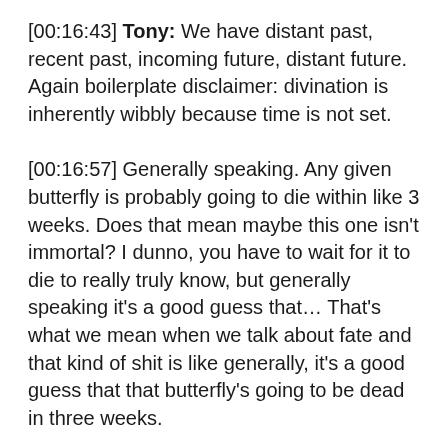[00:16:43] Tony: We have distant past, recent past, incoming future, distant future. Again boilerplate disclaimer: divination is inherently wibbly because time is not set.
[00:16:57] Generally speaking. Any given butterfly is probably going to die within like 3 weeks. Does that mean maybe this one isn't immortal? I dunno, you have to wait for it to die to really truly know, but generally speaking it's a good guess that... That's what we mean when we talk about fate and that kind of shit is like generally, it's a good guess that that butterfly's going to be dead in three weeks.
[00:17:25] Just just educated guessing based on